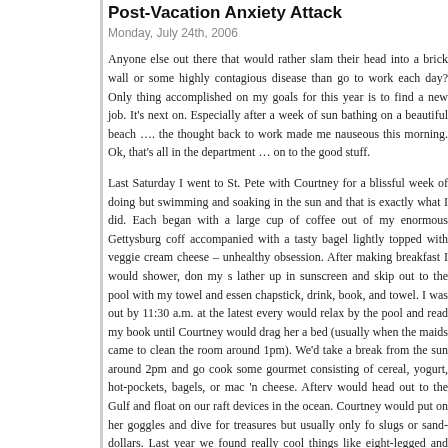Post-Vacation Anxiety Attack
Monday, July 24th, 2006
Anyone else out there that would rather slam their head into a brick wall or some highly contagious disease than go to work each day? Only thing accomplished on my goals for this year is to find a new job. It’s next on. Especially after a week of sun bathing on a beautiful beach …. the thought back to work made me nauseous this morning. Ok, that’s all in the department … on to the good stuff.
Last Saturday I went to St. Pete with Courtney for a blissful week of doing but swimming and soaking in the sun and that is exactly what I did. Each began with a large cup of coffee out of my enormous Gettysburg coff accompanied with a tasty bagel lightly topped with veggie cream cheese – unhealthy obsession. After making breakfast I would shower, don my s lather up in sunscreen and skip out to the pool with my towel and essen chapstick, drink, book, and towel. I was out by 11:30 a.m. at the latest every would relax by the pool and read my book until Courtney would drag her a bed (usually when the maids came to clean the room around 1pm). We’ take a break from the sun around 2pm and go cook some gourmet consisting of cereal, yogurt, hot-pockets, bagels, or mac ‘n cheese. Afterv would head out to the Gulf and float on our raft devices in the ocean. Courtney would put on her goggles and dive for treasures but usually only fo slugs or sand-dollars. Last year we found really cool things like eight-legged and evil crabbies, but this year was a bit less exotic in the creature department.
We’d usually call it a day in the sun around 4pm and head back to our